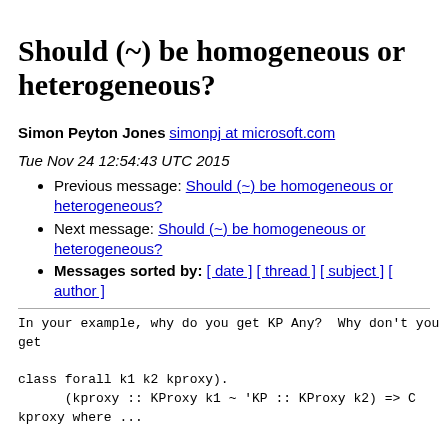Should (~) be homogeneous or heterogeneous?
Simon Peyton Jones simonpj at microsoft.com
Tue Nov 24 12:54:43 UTC 2015
Previous message: Should (~) be homogeneous or heterogeneous?
Next message: Should (~) be homogeneous or heterogeneous?
Messages sorted by: [ date ] [ thread ] [ subject ] [ author ]
In your example, why do you get KP Any?  Why don't you get

class forall k1 k2 kproxy).
      (kproxy :: KProxy k1 ~ 'KP :: KProxy k2) => C kproxy where ...

That may be over-polymorphic, but it'll work ok won't it?

More generally, why does (2) lead to "trouble"?